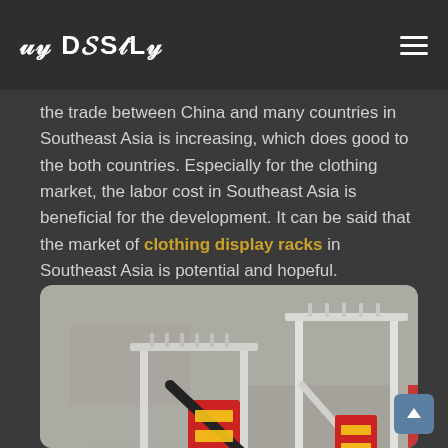UO DISPLAY
the trade between China and many countries in Southeast Asia is increasing, which does good to the both countries. Especially for the clothing market, the labor cost in Southeast Asia is beneficial for the development. It can be said that the market of clothing display racks in Southeast Asia is potential and hopeful.
[Figure (photo): Photo of metal clothing display racks (garment racks) leaning against a concrete wall, with red Chinese decorative banners/signage visible in the background.]